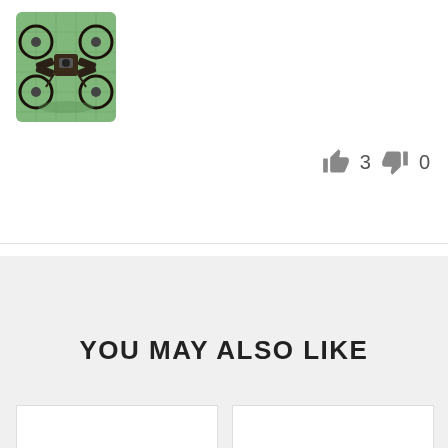[Figure (photo): A FPV racing drone photographed from above on a green cutting mat background]
👍 3  👎 0
YOU MAY ALSO LIKE